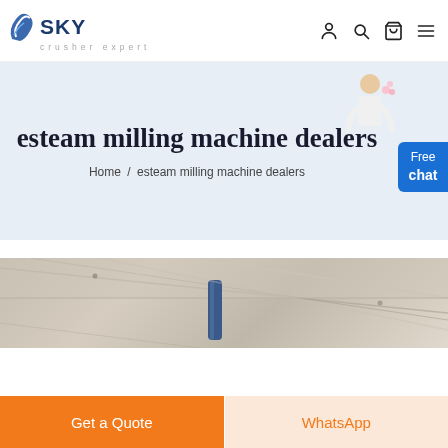SKY crusher expert
esteam milling machine dealers
Home / esteam milling machine dealers
[Figure (photo): Angled industrial milling machine ceiling/structure view with cylindrical component visible]
Get a Quote
WhatsApp